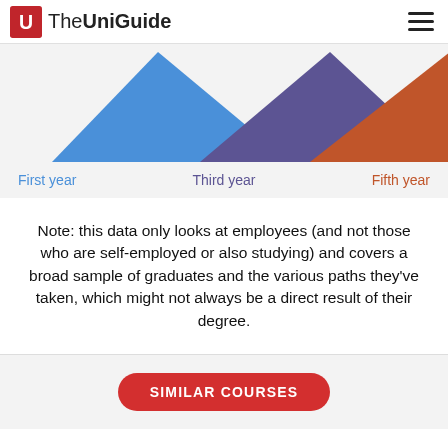The UniGuide
[Figure (infographic): Three overlapping mountain/triangle shapes in blue, purple, and orange representing First year, Third year, and Fifth year salary data for graduates.]
First year   Third year   Fifth year
Note: this data only looks at employees (and not those who are self-employed or also studying) and covers a broad sample of graduates and the various paths they've taken, which might not always be a direct result of their degree.
SIMILAR COURSES